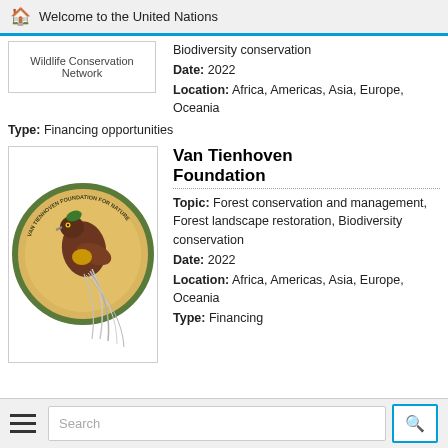Welcome to the United Nations
Wildlife Conservation Network
Biodiversity conservation
Date: 2022
Location: Africa, Americas, Asia, Europe, Oceania
Type: Financing opportunities
[Figure (logo): Van Tienhoven Foundation logo — circular medallion with a bird of paradise]
Van Tienhoven Foundation
Topic: Forest conservation and management, Forest landscape restoration, Biodiversity conservation
Date: 2022
Location: Africa, Americas, Asia, Europe, Oceania
Type: Financing
Search